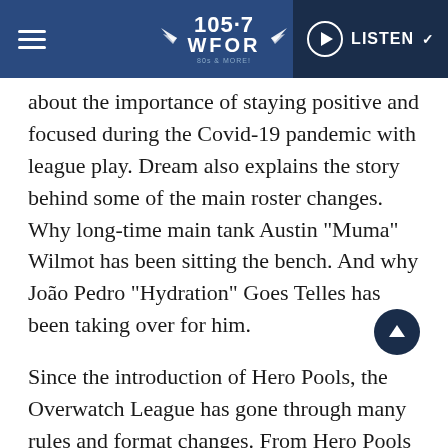105.7 WFOR | LISTEN
about the importance of staying positive and focused during the Covid-19 pandemic with league play. Dream also explains the story behind some of the main roster changes. Why long-time main tank Austin “Muma” Wilmot has been sitting the bench. And why João Pedro “Hydration” Goes Telles has been taking over for him.
Since the introduction of Hero Pools, the Overwatch League has gone through many rules and format changes. From Hero Pools to the Tournament format, it’s all been in the service of a better final product and keeping